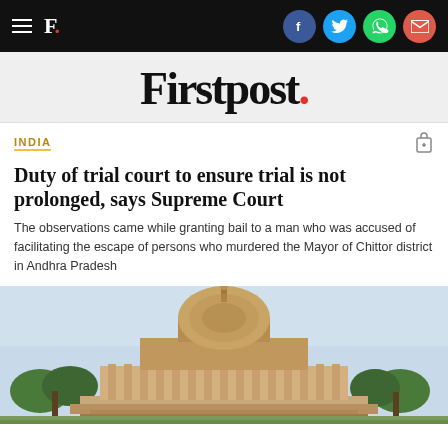Firstpost. — navigation bar with social icons (Facebook, Twitter, WhatsApp, Email)
Firstpost.
INDIA
Duty of trial court to ensure trial is not prolonged, says Supreme Court
The observations came while granting bail to a man who was accused of facilitating the escape of persons who murdered the Mayor of Chittor district in Andhra Pradesh
[Figure (photo): Photograph of the Supreme Court of India building, showing the iconic dome structure, sandstone facade, and surrounding trees under a light blue sky.]